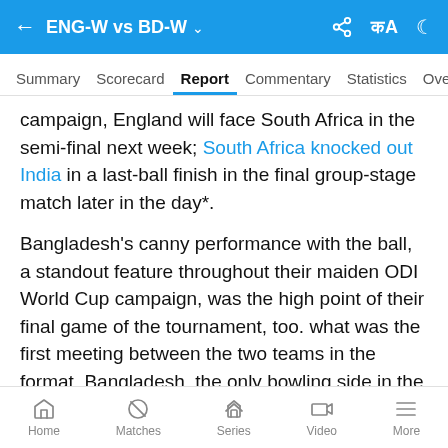ENG-W vs BD-W
Summary  Scorecard  Report  Commentary  Statistics  Over
campaign, England will face South Africa in the semi-final next week; South Africa knocked out India in a last-ball finish in the final group-stage match later in the day*.
Bangladesh's canny performance with the ball, a standout feature throughout their maiden ODI World Cup campaign, was the high point of their final game of the tournament, too. what was the first meeting between the two teams in the format, Bangladesh, the only bowling side in the tournament that didn't conceded 250 or more against any opposition, left
Home  Matches  Series  Video  More